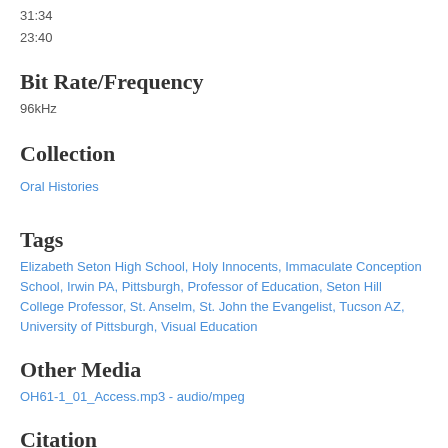31:34
23:40
Bit Rate/Frequency
96kHz
Collection
Oral Histories
Tags
Elizabeth Seton High School, Holy Innocents, Immaculate Conception School, Irwin PA, Pittsburgh, Professor of Education, Seton Hill College Professor, St. Anselm, St. John the Evangelist, Tucson AZ, University of Pittsburgh, Visual Education
Other Media
OH61-1_01_Access.mp3 - audio/mpeg
Citation